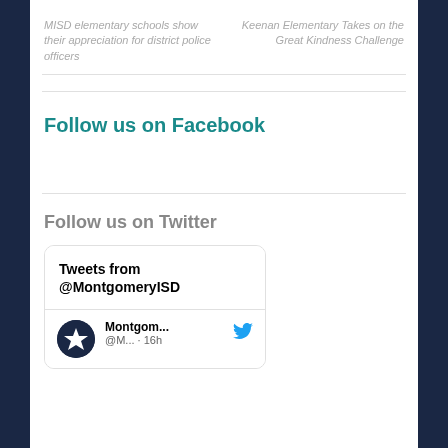MISD elementary schools show their appreciation for district police officers
Keenan Elementary Takes on the Great Kindness Challenge
Follow us on Facebook
Follow us on Twitter
Tweets from @MontgomeryISD
Montgom... @M... · 16h